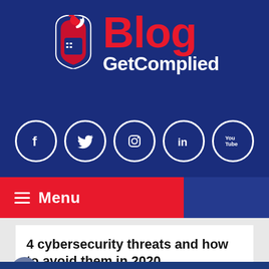[Figure (logo): GetComplied Blog logo with knight helmet icon, 'Blog' in red bold text and 'GetComplied' in white bold text on dark blue background]
[Figure (infographic): Social media icons row: Facebook, Twitter, Instagram, LinkedIn, YouTube — white circle outlines on dark blue background]
[Figure (infographic): Red navigation menu bar with hamburger icon and 'Menu' text]
4 cybersecurity threats and how to avoid them in 2020
Posted on October 28, 2020